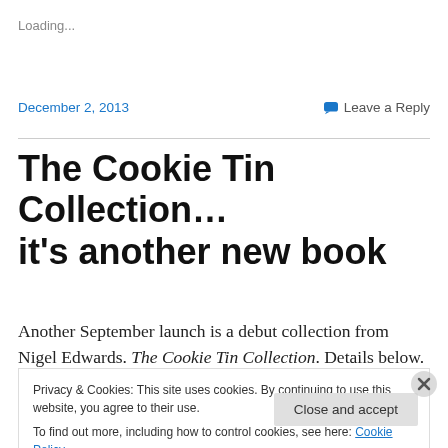Loading...
December 2, 2013
Leave a Reply
The Cookie Tin Collection… it's another new book
Another September launch is a debut collection from Nigel Edwards. The Cookie Tin Collection. Details below. This
Privacy & Cookies: This site uses cookies. By continuing to use this website, you agree to their use.
To find out more, including how to control cookies, see here: Cookie Policy
Close and accept